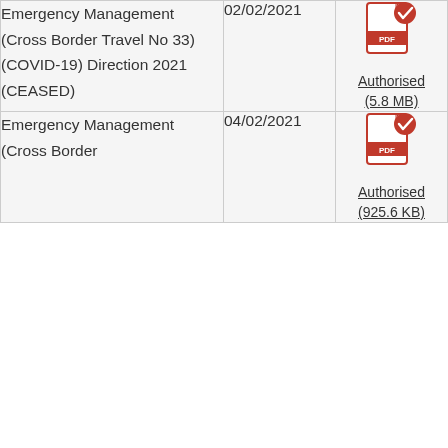| Name | Date | Document |
| --- | --- | --- |
| Emergency Management (Cross Border Travel No 33) (COVID-19) Direction 2021 (CEASED) | 02/02/2021 | Authorised (5.8 MB) |
| Emergency Management (Cross Border... | 04/02/2021 | Authorised (925.6 KB) |